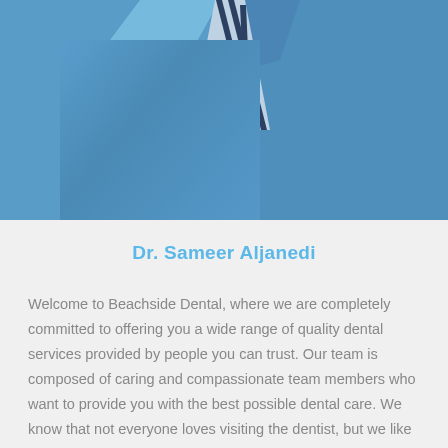[Figure (photo): Close-up photo of a person wearing a blue suit jacket and a striped tie, cropped at the chest/torso area.]
Dr. Sameer Aljanedi
Welcome to Beachside Dental, where we are completely committed to offering you a wide range of quality dental services provided by people you can trust. Our team is composed of caring and compassionate team members who want to provide you with the best possible dental care. We know that not everyone loves visiting the dentist, but we like to combat that outdated belief with an overwhelmingly positive experience. With our team, you will feel supported every step of the way.